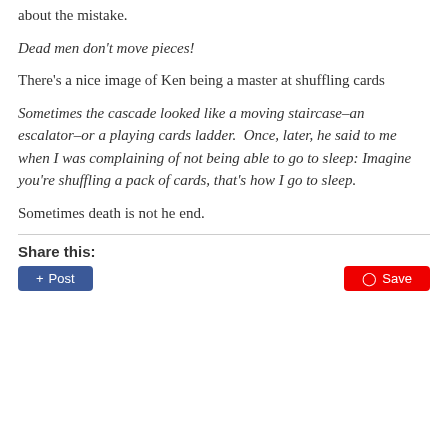about the mistake.
Dead men don't move pieces!
There's a nice image of Ken being a master at shuffling cards
Sometimes the cascade looked like a moving staircase–an escalator–or a playing cards ladder.  Once, later, he said to me when I was complaining of not being able to go to sleep: Imagine you're shuffling a pack of cards, that's how I go to sleep.
Sometimes death is not he end.
Share this:
+ Post   Save